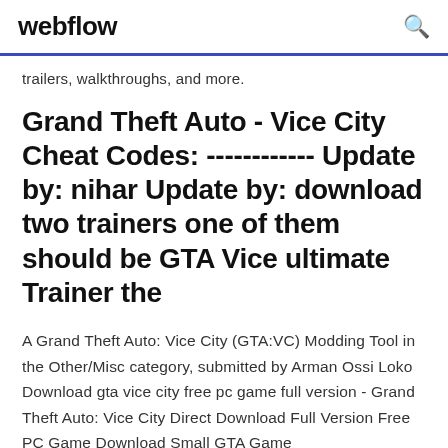webflow
trailers, walkthroughs, and more.
Grand Theft Auto - Vice City Cheat Codes: ------------ Update by: nihar Update by: download two trainers one of them should be GTA Vice ultimate Trainer the
A Grand Theft Auto: Vice City (GTA:VC) Modding Tool in the Other/Misc category, submitted by Arman Ossi Loko Download gta vice city free pc game full version - Grand Theft Auto: Vice City Direct Download Full Version Free PC Game Download Small GTA Game